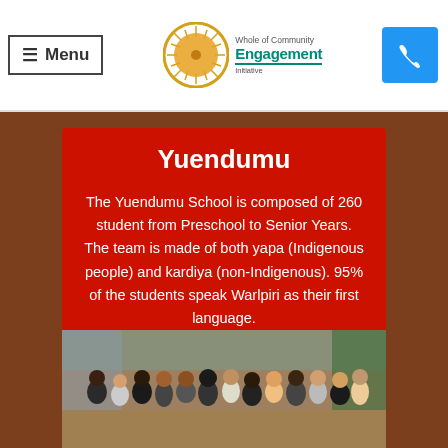≡ Menu | Whole of Community Engagement Initiative logo | Phone
Yuendumu
The Yuendumu School is composed of 260 student from Preschool to Senior Years. The team is made of both yapa (Indigenous people) and kardiya (non-Indigenous). 95% of the students speak Warlpiri as their first language.
[Figure (photo): Group photo of Yuendumu school staff — a diverse group of people standing together outdoors]